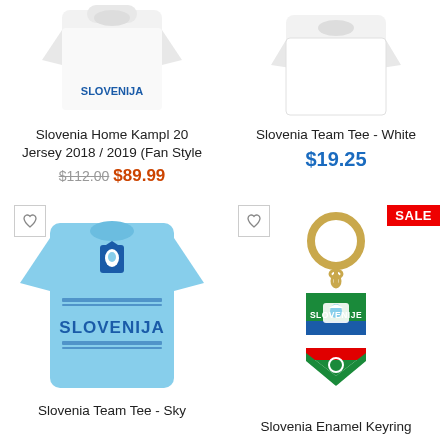[Figure (photo): Slovenia Home Kampl 20 jersey product image (top, partially cropped)]
Slovenia Home Kampl 20 Jersey 2018 / 2019 (Fan Style
$112.00 $89.99
[Figure (photo): Slovenia Team Tee - White product image (top, partially cropped)]
Slovenia Team Tee - White
$19.25
[Figure (photo): Light blue Slovenia Team Tee (Slovenija) shirt with Slovenija text and crest]
Slovenia Team Tee - Sky
[Figure (photo): Slovenia Enamel Keyring with gold ring and shield-shaped enamel tag reading SLOVENIJE]
Slovenia Enamel Keyring